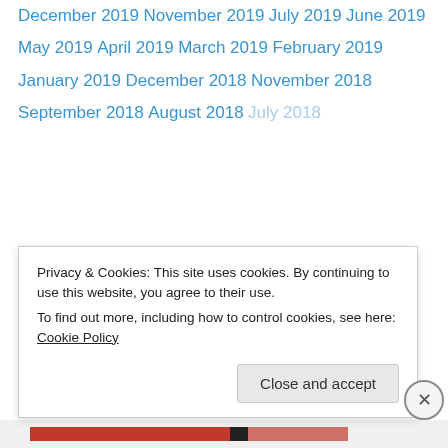December 2019
November 2019
July 2019
June 2019
May 2019
April 2019
March 2019
February 2019
January 2019
December 2018
November 2018
September 2018
August 2018
July 2018
Privacy & Cookies: This site uses cookies. By continuing to use this website, you agree to their use.
To find out more, including how to control cookies, see here: Cookie Policy
Close and accept